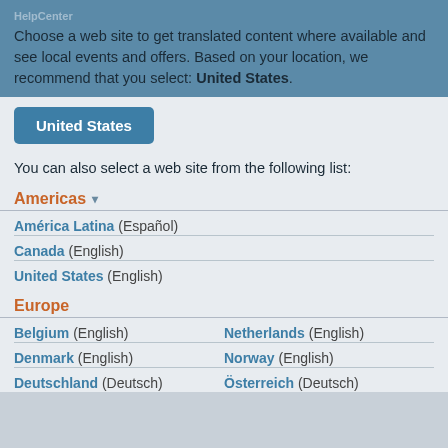Choose a web site to get translated content where available and see local events and offers. Based on your location, we recommend that you select: United States.
United States
You can also select a web site from the following list:
Americas
América Latina (Español)
Canada (English)
United States (English)
Europe
Belgium (English)
Netherlands (English)
Denmark (English)
Norway (English)
Deutschland (Deutsch)
Österreich (Deutsch)